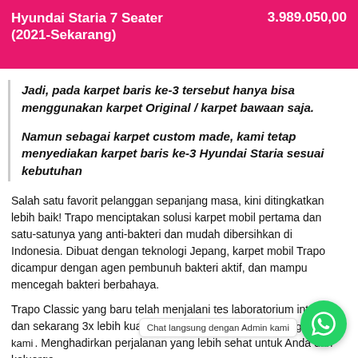Hyundai Staria 7 Seater (2021-Sekarang)    3.989.050,00
Jadi, pada karpet baris ke-3 tersebut hanya bisa menggunakan karpet Original / karpet bawaan saja.
Namun sebagai karpet custom made, kami tetap menyediakan karpet baris ke-3 Hyundai Staria sesuai kebutuhan
Salah satu favorit pelanggan sepanjang masa, kini ditingkatkan lebih baik! Trapo menciptakan solusi karpet mobil pertama dan satu-satunya yang anti-bakteri dan mudah dibersihkan di Indonesia. Dibuat dengan teknologi Jepang, karpet mobil Trapo dicampur dengan agen pembunuh bakteri aktif, dan mampu mencegah bakteri berbahaya.
Trapo Classic yang baru telah menjalani tes laboratorium intensif dan sekarang 3x lebih kuat dan tahan. Menghadirkan perjalanan yang lebih sehat untuk Anda dan keluarga.